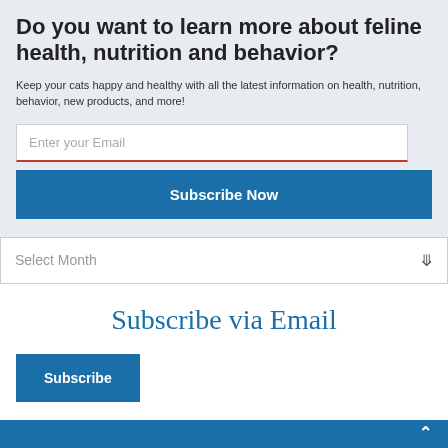Do you want to learn more about feline health, nutrition and behavior?
Keep your cats happy and healthy with all the latest information on health, nutrition, behavior, new products, and more!
Enter your Email
Subscribe Now
Select Month
Subscribe via Email
Subscribe